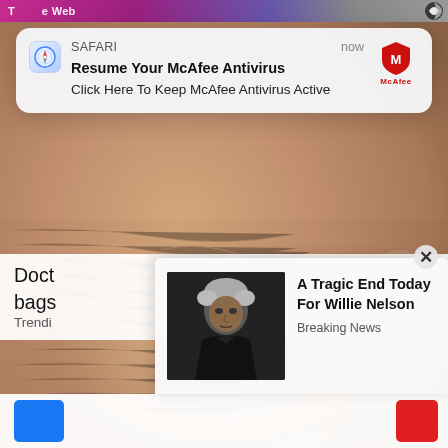[Figure (screenshot): Mobile browser screenshot with purple/pink top bar showing partial text. Background shows a close-up photo of aged, wrinkled human skin near the nose and cheek area.]
[Figure (screenshot): Safari browser push notification card with compass icon, showing 'SAFARI' label, timestamp 'now', bold title 'Resume Your McAfee Antivirus', body text 'Click Here To Keep McAfee Antivirus Active', and McAfee red shield logo on the right.]
Resume Your McAfee Antivirus
Click Here To Keep McAfee Antivirus Active
Doct                                         ye-
bags
Trendi
[Figure (screenshot): Popup advertisement showing a photo of Willie Nelson (elderly man in black) on the left, with text 'A Tragic End Today For Willie Nelson' and 'Breaking News' label. Close button (x) in upper right.]
A Tragic End Today For Willie Nelson
Breaking News